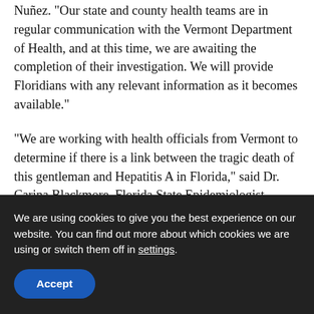Nuñez. “Our state and county health teams are in regular communication with the Vermont Department of Health, and at this time, we are awaiting the completion of their investigation. We will provide Floridians with any relevant information as it becomes available.”
“We are working with health officials from Vermont to determine if there is a link between the tragic death of this gentleman and Hepatitis A in Florida,” said Dr. Carina Blackmore, Florida State Epidemiologist.
We are using cookies to give you the best experience on our website. You can find out more about which cookies we are using or switch them off in settings.